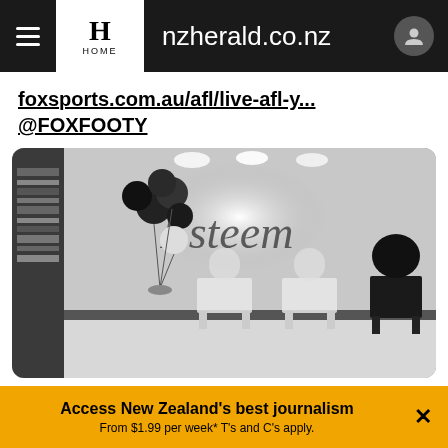nzherald.co.nz
foxsports.com.au/afl/live-afl-y... @FOXFOOTY
[Figure (photo): Black and white interior photo of a room with 'Esteem' branding on the wall, black balloons on the left, two white chairs and a black chair, and a bookshelf on the left side.]
9:05 AM · Jul 31, 2020
Access New Zealand's best journalism From $1.99 per week* T's and C's apply.